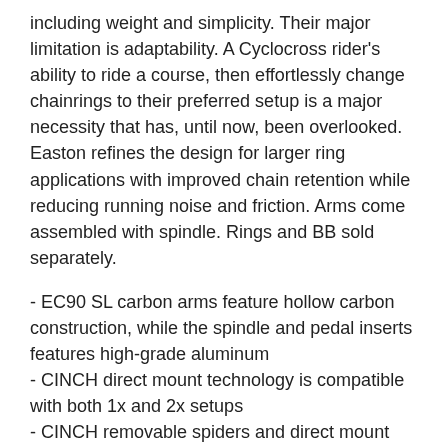including weight and simplicity. Their major limitation is adaptability. A Cyclocross rider's ability to ride a course, then effortlessly change chainrings to their preferred setup is a major necessity that has, until now, been overlooked. Easton refines the design for larger ring applications with improved chain retention while reducing running noise and friction. Arms come assembled with spindle. Rings and BB sold separately.
- EC90 SL carbon arms feature hollow carbon construction, while the spindle and pedal inserts features high-grade aluminum
- CINCH direct mount technology is compatible with both 1x and 2x setups
- CINCH removable spiders and direct mount rings utilize a 20-tooth ISIS BB tool for removal and installation
- Chainline: 1x 47mm / 2x 45mm
- Hub Compatibility: 130 Hubs, 135/142 Road Disc Hubs > 415 mm Chainstay, 135/142 Road Disc Hubs < 415 mm Chainstay